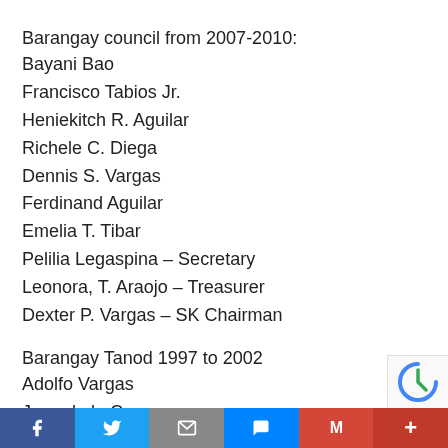Barangay council from 2007-2010:
Bayani Bao
Francisco Tabios Jr.
Heniekitch R. Aguilar
Richele C. Diega
Dennis S. Vargas
Ferdinand Aguilar
Emelia T. Tibar
Pelilia Legaspina – Secretary
Leonora, T. Araojo – Treasurer
Dexter P. Vargas – SK Chairman
Barangay Tanod 1997 to 2002
Adolfo Vargas
Juan de la Cruz